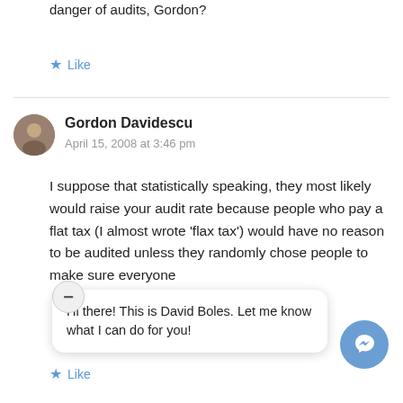danger of audits, Gordon?
Like
Gordon Davidescu
April 15, 2008 at 3:46 pm
I suppose that statistically speaking, they most likely would raise your audit rate because people who pay a flat tax (I almost wrote ‘flax tax’) would have no reason to be audited unless they randomly chose people to make sure everyone
Hi there! This is David Boles. Let me know what I can do for you!
Like